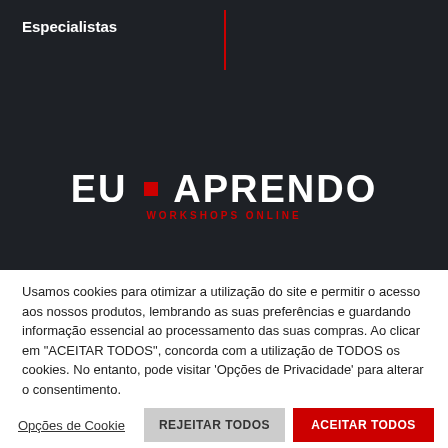Especialistas
[Figure (logo): EU APRENDO WORKSHOPS ONLINE logo with red square between EU and APRENDO text on dark background]
Usamos cookies para otimizar a utilização do site e permitir o acesso aos nossos produtos, lembrando as suas preferências e guardando informação essencial ao processamento das suas compras. Ao clicar em "ACEITAR TODOS", concorda com a utilização de TODOS os cookies. No entanto, pode visitar 'Opções de Privacidade' para alterar o consentimento.
Opções de Cookie    REJEITAR TODOS    ACEITAR TODOS